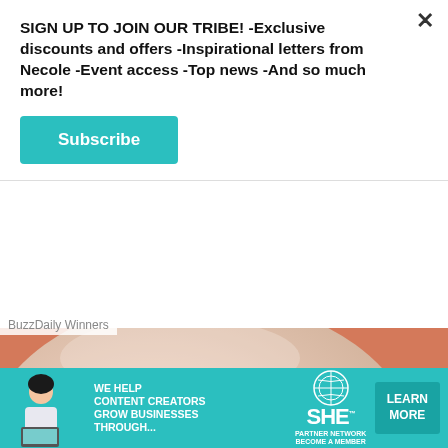SIGN UP TO JOIN OUR TRIBE! -Exclusive discounts and offers -Inspirational letters from Necole -Event access -Top news -And so much more!
Subscribe
BuzzDaily Winners
[Figure (photo): Close-up photo of a person's face with a face mask applied, showing clay or cream-colored mask on skin with pinkish/orange tones visible underneath around the nose area.]
[Figure (infographic): Advertisement banner for SHE Partner Network with teal background. Text reads: WE HELP CONTENT CREATORS GROW BUSINESSES THROUGH... with SHE logo, PARTNER NETWORK, BECOME A MEMBER text, and a LEARN MORE button. Shows a woman with a laptop on the left side.]